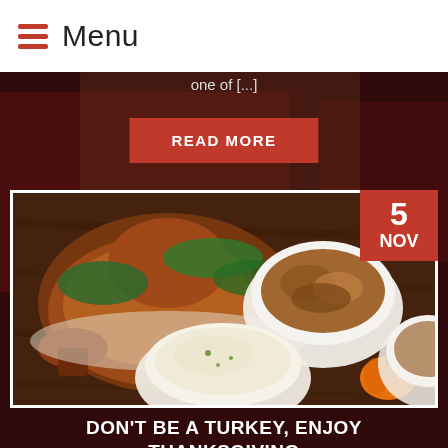Menu
one of [...]
READ MORE
[Figure (photo): Thanksgiving food spread with roasted turkey, bowls of stuffing, mashed potatoes, with a date badge showing '5 NOV' in red]
DON'T BE A TURKEY, ENJOY THANKSGIVING SAFELY THIS YEAR
Thanksgiving is just around the corner and while Indianapolis EMS is excited to celebrate with our family and friends, we want to